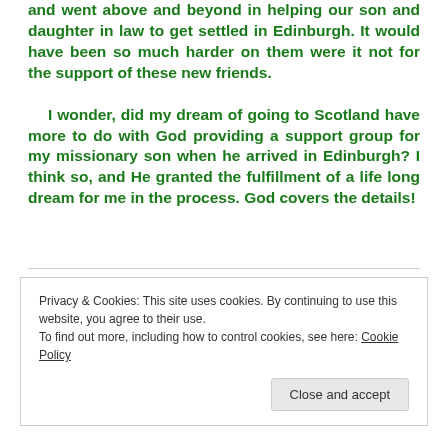and went above and beyond in helping our son and daughter in law to get settled in Edinburgh. It would have been so much harder on them were it not for the support of these new friends.

    I wonder, did my dream of going to Scotland have more to do with God providing a support group for my missionary son when he arrived in Edinburgh? I think so, and He granted the fulfillment of a life long dream for me in the process. God covers the details!
Privacy & Cookies: This site uses cookies. By continuing to use this website, you agree to their use.
To find out more, including how to control cookies, see here: Cookie Policy
Close and accept